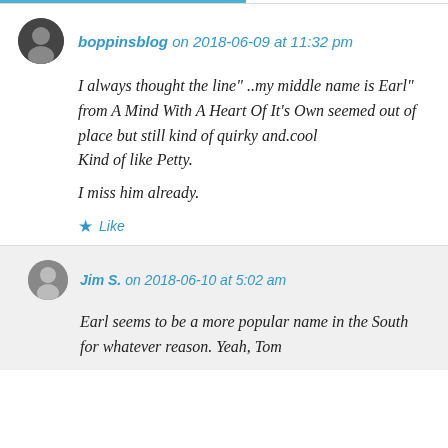boppinsblog on 2018-06-09 at 11:32 pm
I always thought the line" ..my middle name is Earl" from A Mind With A Heart Of It's Own seemed out of place but still kind of quirky and.cool
Kind of like Petty.

I miss him already.
Like
Jim S. on 2018-06-10 at 5:02 am
Earl seems to be a more popular name in the South for whatever reason. Yeah, Tom